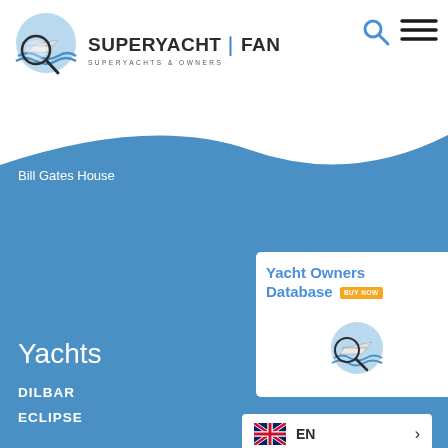[Figure (logo): SuperYachtFan logo with magnifying glass over a yacht on water waves]
SUPERYACHT | FAN
SUPERYACHTS & OWNERS
[Figure (other): Search icon (magnifying glass) in blue]
[Figure (other): Hamburger menu icon (three horizontal lines)]
Bill Gates House
[Figure (other): Yacht Owners Database promotional box with logo and BUY NOW badge]
Yachts
DILBAR
ECLIPSE
NORD
SY A
SOLARIS
[Figure (other): EN language selector with UK flag]